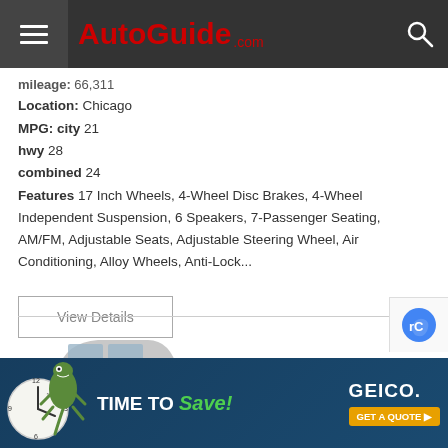AutoGuide.com
mileage: 66,311
Location: Chicago
MPG: city 21
hwy 28
combined 24
Features 17 Inch Wheels, 4-Wheel Disc Brakes, 4-Wheel Independent Suspension, 6 Speakers, 7-Passenger Seating, AM/FM, Adjustable Seats, Adjustable Steering Wheel, Air Conditioning, Alloy Wheels, Anti-Lock...
View Details
[Figure (photo): White/silver large SUV (Kia Telluride) viewed from front-right angle]
1 photo
[Figure (infographic): GEICO advertisement: gecko with clock, 'TIME TO Save! GEICO. GET A QUOTE >']